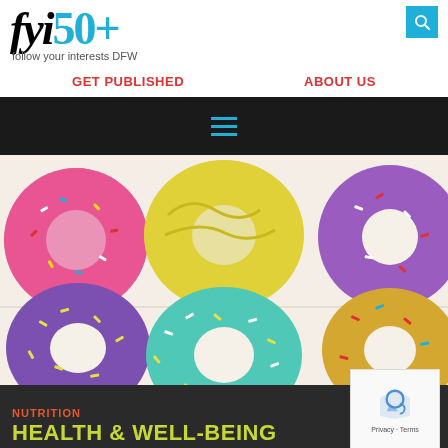[Figure (logo): fyi50+ logo with 'fyi' in black serif, '50+' in blue, and tagline 'follow your interests DFW']
GET PUBLISHED   ABOUT US
[Figure (other): Hamburger menu icon (three horizontal cyan lines) on dark background]
[Figure (photo): Top-down photo of six colorful frosted donuts with sprinkles in pink, yellow, purple, teal, and gold colors arranged in a box]
NUTRITION
HEALTH & WELL-BEING